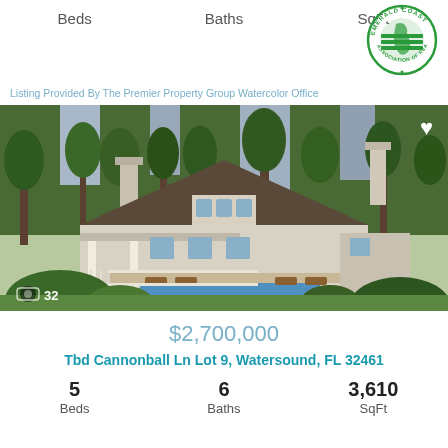Beds   Baths   SqFt
[Figure (logo): Emerald Coast Association of Realtors circular green logo]
Listing Provided By The Premier Property Group Watercolor Office
[Figure (photo): Aerial/perspective rendering of a large gray craftsman-style house with dark roof, wraparound porch, pool area, surrounded by tall pine trees and lush greenery. Photo counter shows 32 images.]
$2,700,000
Tbd Cannonball Ln Lot 9, Watersound, FL 32461
5
Beds
6
Baths
3,610
SqFt